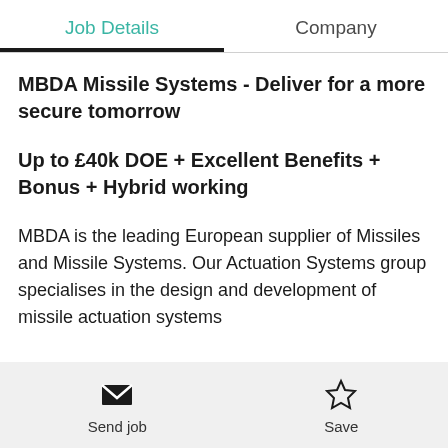Job Details | Company
MBDA Missile Systems - Deliver for a more secure tomorrow
Up to £40k DOE + Excellent Benefits + Bonus + Hybrid working
MBDA is the leading European supplier of Missiles and Missile Systems. Our Actuation Systems group specialises in the design and development of missile actuation systems
Send job | Save